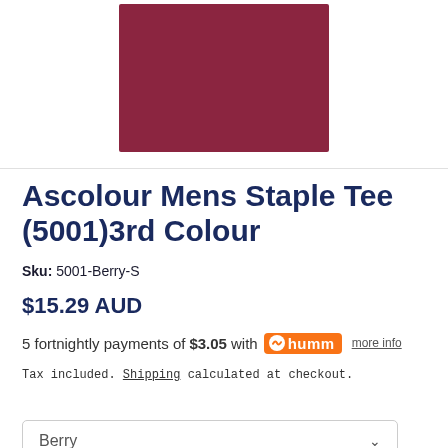[Figure (photo): A folded berry/dark red fabric swatch against a white background, displayed in a rectangular area at the top of the page.]
Ascolour Mens Staple Tee (5001)3rd Colour
Sku: 5001-Berry-S
$15.29 AUD
5 fortnightly payments of $3.05 with humm more info
Tax included. Shipping calculated at checkout.
Berry